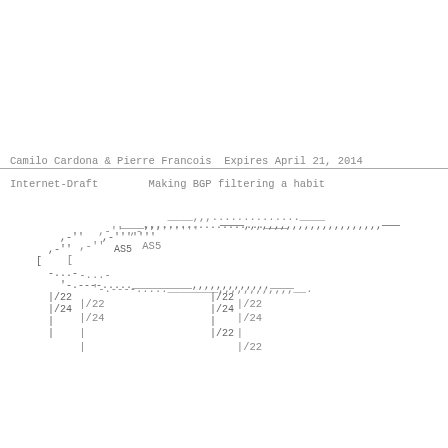Camilo Cardona & Pierre Francois  Expires April 21, 2014
Internet-Draft        Making BGP filtering a habit
[Figure (network-graph): ASCII art network diagram showing BGP topology with nodes labeled AS5, /22, /24 prefixes connected by dashed and solid lines]